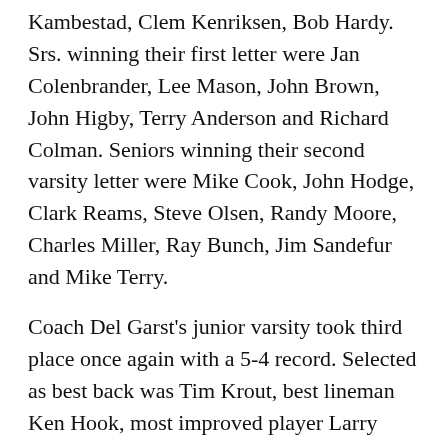Kambestad, Clem Kenriksen, Bob Hardy. Srs. winning their first letter were Jan Colenbrander, Lee Mason, John Brown, John Higby, Terry Anderson and Richard Colman. Seniors winning their second varsity letter were Mike Cook, John Hodge, Clark Reams, Steve Olsen, Randy Moore, Charles Miller, Ray Bunch, Jim Sandefur and Mike Terry.
Coach Del Garst's junior varsity took third place once again with a 5-4 record. Selected as best back was Tim Krout, best lineman Ken Hook, most improved player Larry Thomas and Dale Jenkins and Leroy Perry, captains. Coaches Lasley and Garst presented J. V. letters to Richard Price, John Sheltren, Jeff Norcott, Carl Silkett, Larry Thomas, Dale Jenkins, Dan Anderson, Kent Campbell, Steve Schaaf, Tim Krout, Bob Braner, Ken Hook, George Conrad, Casey Lasley, David Smith, Steve Gibson, Casey Mansfield, Drew Mashburn, Steve Milroy,